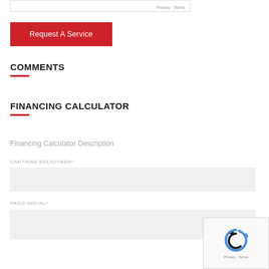[Figure (screenshot): Top portion of a reCAPTCHA widget showing Privacy · Terms text]
Request A Service
COMMENTS
FINANCING CALCULATOR
Financing Calculator Description
CANTIDAD SOLICITADA*
PAGO INICIAL*
[Figure (screenshot): reCAPTCHA widget overlay showing recycling arrows logo and Privacy · Terms text]